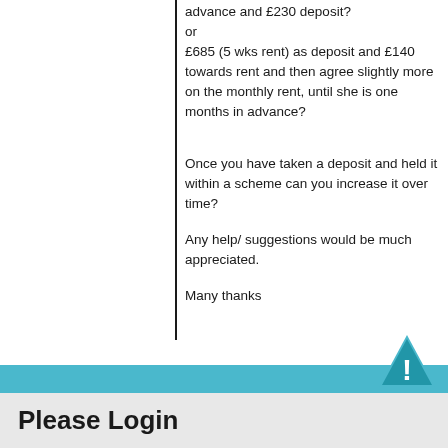advance and £230 deposit?
or
£685 (5 wks rent) as deposit and £140 towards rent and then agree slightly more on the monthly rent, until she is one months in advance?
Once you have taken a deposit and held it within a scheme can you increase it over time?
Any help/ suggestions would be much appreciated.
Many thanks
Please Login